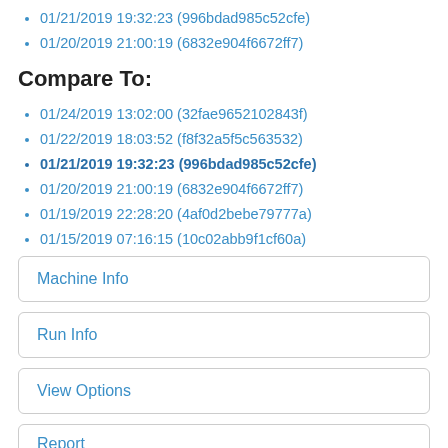01/21/2019 19:32:23 (996bdad985c52cfe)
01/20/2019 21:00:19 (6832e904f6672ff7)
Compare To:
01/24/2019 13:02:00 (32fae9652102843f)
01/22/2019 18:03:52 (f8f32a5f5c563532)
01/21/2019 19:32:23 (996bdad985c52cfe) [bold]
01/20/2019 21:00:19 (6832e904f6672ff7)
01/19/2019 22:28:20 (4af0d2bebe79777a)
01/15/2019 07:16:15 (10c02abb9f1cf60a)
Machine Info
Run Info
View Options
Report
Filter
Benchmark name regex...